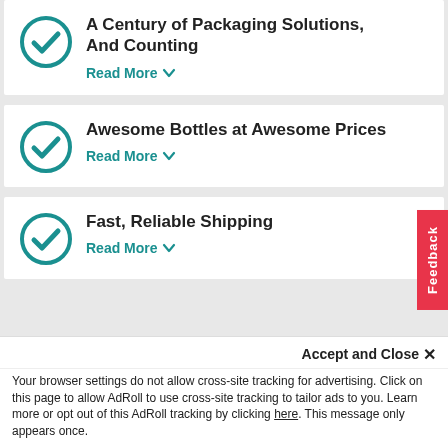A Century of Packaging Solutions, And Counting — Read More
Awesome Bottles at Awesome Prices — Read More
Fast, Reliable Shipping — Read More
MyBottleStore.com
Accept and Close ✕
Your browser settings do not allow cross-site tracking for advertising. Click on this page to allow AdRoll to use cross-site tracking to tailor ads to you. Learn more or opt out of this AdRoll tracking by clicking here. This message only appears once.